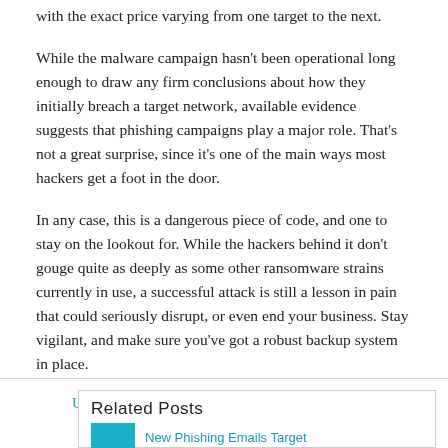with the exact price varying from one target to the next.
While the malware campaign hasn't been operational long enough to draw any firm conclusions about how they initially breach a target network, available evidence suggests that phishing campaigns play a major role. That's not a great surprise, since it's one of the main ways most hackers get a foot in the door.
In any case, this is a dangerous piece of code, and one to stay on the lookout for. While the hackers behind it don't gouge quite as deeply as some other ransomware strains currently in use, a successful attack is still a lesson in pain that could seriously disrupt, or even end your business. Stay vigilant, and make sure you've got a robust backup system in place.
Used with permission from Article Aggregator
Related Posts
New Phishing Emails Target...